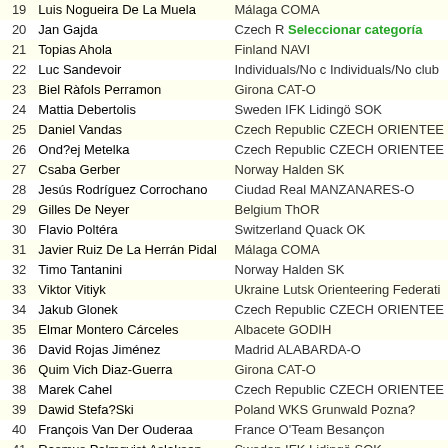| # | Name | Club/Country |
| --- | --- | --- |
| 19 | Luis Nogueira De La Muela | Málaga COMA |
| 20 | Jan Gajda | Czech | Seleccionar categoría |
| 21 | Topias Ahola | Finland NAVI |
| 22 | Luc Sandevoir | Individuals/No c Individuals/No club |
| 23 | Biel Ràfols Perramon | Girona CAT-O |
| 24 | Mattia Debertolis | Sweden IFK Lidingö SOK |
| 25 | Daniel Vandas | Czech Republic CZECH ORIENTEE |
| 26 | Ond?ej Metelka | Czech Republic CZECH ORIENTEE |
| 27 | Csaba Gerber | Norway Halden SK |
| 28 | Jesús Rodríguez Corrochano | Ciudad Real MANZANARES-O |
| 29 | Gilles De Neyer | Belgium ThOR |
| 30 | Flavio Poltéra | Switzerland Quack OK |
| 31 | Javier Ruiz De La Herrán Pidal | Málaga COMA |
| 32 | Timo Tantanini | Norway Halden SK |
| 33 | Viktor Vitiyk | Ukraine Lutsk Orienteering Federati |
| 34 | Jakub Glonek | Czech Republic CZECH ORIENTEE |
| 35 | Elmar Montero Cárceles | Albacete GODIH |
| 36 | David Rojas Jiménez | Madrid ALABARDA-O |
| 36 | Quim Vich Diaz-Guerra | Girona CAT-O |
| 38 | Marek Cahel | Czech Republic CZECH ORIENTEE |
| 39 | Dawid Stefa?Ski | Poland WKS Grunwald Pozna? |
| 40 | François Van Der Ouderaa | France O'Team Besançon |
| 41 | Rasmus Palmqvist Aslaksen | Sweden IFK Lidingö SOK |
| 41 | Šimon Navrátil | Sweden IFK Lidingö SOK |
| 43 | Tomáš Janovský | Czech Republic CZECH ORIENTEE |